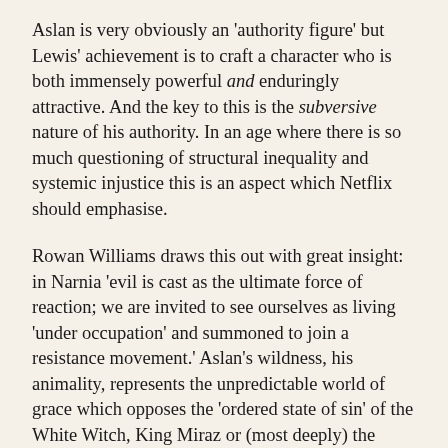Aslan is very obviously an 'authority figure' but Lewis' achievement is to craft a character who is both immensely powerful and enduringly attractive. And the key to this is the subversive nature of his authority. In an age where there is so much questioning of structural inequality and systemic injustice this is an aspect which Netflix should emphasise.
Rowan Williams draws this out with great insight: in Narnia 'evil is cast as the ultimate force of reaction; we are invited to see ourselves as living 'under occupation' and summoned to join a resistance movement.' Aslan's wildness, his animality, represents the unpredictable world of grace which opposes the 'ordered state of sin' of the White Witch, King Miraz or (most deeply) the prisons we build for ourselves. 'Transcendance is the wildness of joy; and the truth of God becomes a revolution against what we have made of ourselves'.